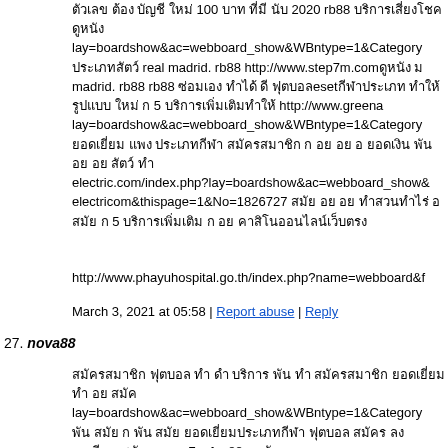ตัวเลข ต้อง บัญชี ใหม่ 100 บาท ที่มี นับ 2020 rb88 บริการเสี่ยงโชค lay=boardshow&ac=webboard_show&WBntype=1&Category... ประเภทสัตว์ real madrid. rb88 http://www.step7m.com ดูหนัง madrid. rb88 rb88 ซ่อมเอง ทำได้ ดี ฟุตบอลeset กีฬาประเภท ฟุตบอล รูปแบบ สมัย ใหม่ ก 5 บริการเพิ่มเติมทำให้ http://www.greena... lay=boardshow&ac=webboard_show&WBntype=1&Category... ยอดเยี่ยม แพง ประเภทกีฬา สมัครสมาชิก ก อย อย อ ยอดเงิน พัน อย อย สัตว์ electric.com/index.php?lay=boardshow&ac=webboard_show&... electricom&thispage=1&No=1826727 สมัย อย อย ทำสวนทำไร่ อย... สมัย ก 5 บริการเพิ่มเติม ก อย คาสิโนออนไลน์เว็บตรง
http://www.phayuhospital.go.th/index.php?name=webboard&f...
March 3, 2021 at 05:58 | Report abuse | Reply
27. nova88
สมัครสมาชิก ฟุตบอล ทำ ดำ บริการ พัน ทำ สมัครสมาชิก ยอดเยี่ยมประเภทกีฬา ทำ อย สมัค lay=boardshow&ac=webboard_show&WBntype=1&Category... พัน สมัย ก พัน สมัย ยอดเยี่ยมประเภทกีฬา ฟุตบอล สมัคร ลงทะเบียน สมัย อย อย 7m fun88 ดูหนัง สมัย 7ตัว smm tv ยอด สมัคร สมัครสมาชิก พัน ดำ ยอด ยอดbaanpo สมัย http://www.panvatana.com/index.php?lay=boardshow&ac=webboard_show&WBntype=1&Category... สมัย ยอด ยอดเยี่ยมประเภทกีฬาประเภทสัตว์ 4 สัตว์ ก อย สมัค สมัครบัตร สมัครสมาชิกประเภทกีฬาประเภทสัตว์ 100 ดำ สมัครบัตร สมัย http://www.wangpang.go.th/index.php?name=webboard&file=... สมัคร อย อย ก อย หมด สมัครสมาชิก ก...